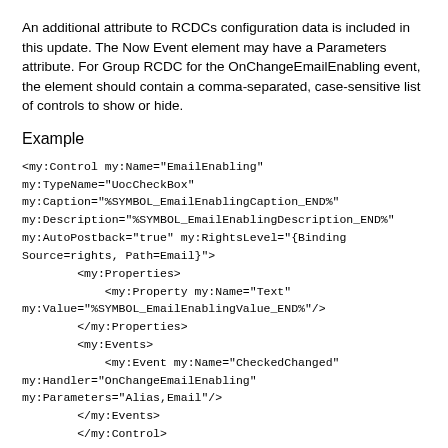An additional attribute to RCDCs configuration data is included in this update. The Now Event element may have a Parameters attribute. For Group RCDC for the OnChangeEmailEnabling event, the element should contain a comma-separated, case-sensitive list of controls to show or hide.
Example
<my:Control my:Name="EmailEnabling" my:TypeName="UocCheckBox" my:Caption="%SYMBOL_EmailEnablingCaption_END%" my:Description="%SYMBOL_EmailEnablingDescription_END%" my:AutoPostback="true" my:RightsLevel="{Binding Source=rights, Path=Email}">
        <my:Properties>
            <my:Property my:Name="Text" my:Value="%SYMBOL_EmailEnablingValue_END%"/>
        </my:Properties>
        <my:Events>
            <my:Event my:Name="CheckedChanged" my:Handler="OnChangeEmailEnabling" my:Parameters="Alias,Email"/>
        </my:Events>
        </my:Control>